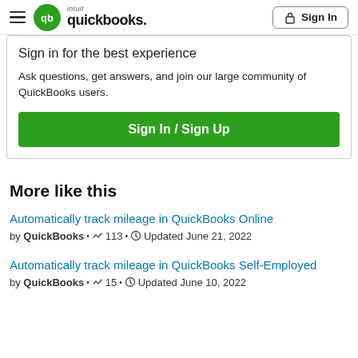intuit quickbooks. Sign In
Sign in for the best experience
Ask questions, get answers, and join our large community of QuickBooks users.
Sign In / Sign Up
More like this
Automatically track mileage in QuickBooks Online
by QuickBooks• 113• Updated June 21, 2022
Automatically track mileage in QuickBooks Self-Employed
by QuickBooks• 15• Updated June 10, 2022